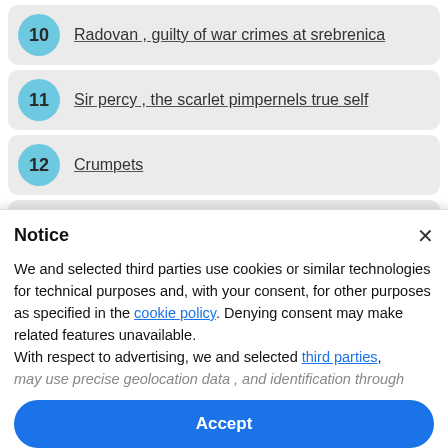10 Radovan , guilty of war crimes at srebrenica
11 Sir percy , the scarlet pimpernels true self
12 Crumpets
13 Flower named after its scent with climbing vines
14 Operatic text
15 Asian steppes leafless shrubs
Notice
We and selected third parties use cookies or similar technologies for technical purposes and, with your consent, for other purposes as specified in the cookie policy. Denying consent may make related features unavailable. With respect to advertising, we and selected third parties,
may use precise geolocation data , and identification through
Accept